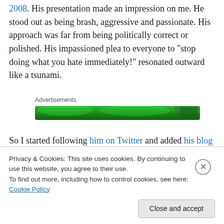2008. His presentation made an impression on me. He stood out as being brash, aggressive and passionate. His approach was far from being politically correct or polished. His impassioned plea to everyone to “stop doing what you hate immediately!” resonated outward like a tsunami.
[Figure (other): Green advertisement banner labeled 'Advertisements']
So I started following him on Twitter and added his blog to my already overflowing and unmanageable list of blogs in my Google Reader account.
Privacy & Cookies: This site uses cookies. By continuing to use this website, you agree to their use.
To find out more, including how to control cookies, see here: Cookie Policy
Close and accept